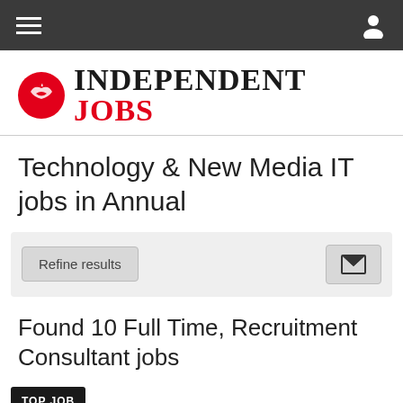Navigation bar with hamburger menu and user icon
[Figure (logo): Independent Jobs logo with red circle eagle icon and text INDEPENDENT JOBS]
Technology & New Media IT jobs in Annual
Refine results
Found 10 Full Time, Recruitment Consultant jobs
TOP JOB